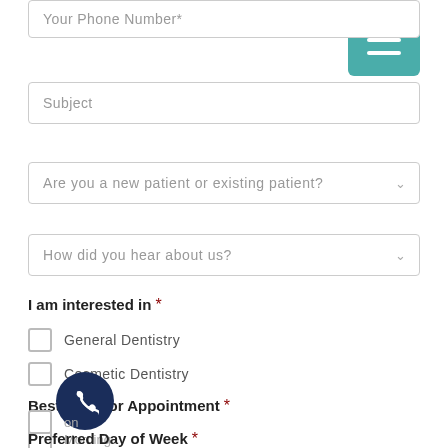Your Phone Number*
Subject
Are you a new patient or existing patient?
How did you hear about us?
I am interested in *
General Dentistry
Cosmetic Dentistry
Best Time for Appointment *
Morning
Noon
Preferred Day of Week *